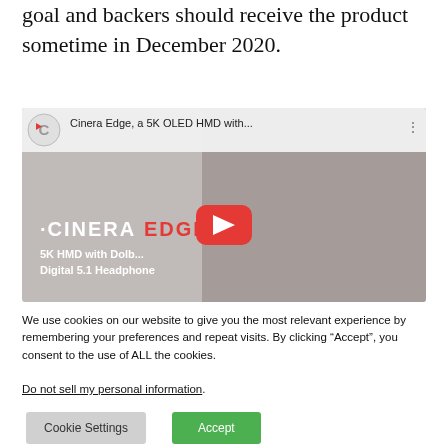goal and backers should receive the product sometime in December 2020.
[Figure (screenshot): YouTube video thumbnail for 'Cinera Edge, a 5K OLED HMD with...' showing a person wearing the Cinera Edge HMD with a red YouTube play button overlay. Text on image reads 'CINERA EDGE' and '5K HMD with Dolby Digital 5.1 Headphone'.]
We use cookies on our website to give you the most relevant experience by remembering your preferences and repeat visits. By clicking “Accept”, you consent to the use of ALL the cookies.
Do not sell my personal information.
Cookie Settings
Accept